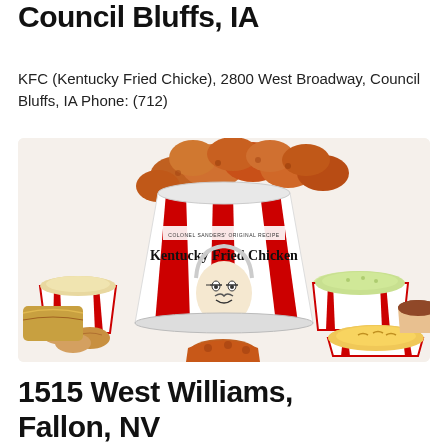Council Bluffs, IA
KFC (Kentucky Fried Chicke), 2800 West Broadway, Council Bluffs, IA Phone: (712)
[Figure (photo): KFC Kentucky Fried Chicken bucket filled with fried chicken pieces, surrounded by side dishes including mashed potatoes, coleslaw, mac and cheese, biscuits, and fried chicken pieces on a white background. The bucket features the Colonel Sanders logo and reads 'Kentucky Fried Chicken'.]
1515 West Williams, Fallon, NV